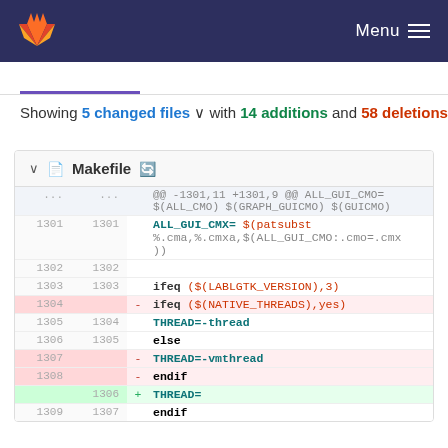GitLab — Menu
Showing 5 changed files with 14 additions and 58 deletions
| old ln | new ln | sign | code |
| --- | --- | --- | --- |
| ... | ... |  | @@ -1301,11 +1301,9 @@ ALL_GUI_CMO=$(ALL_CMO) $(GRAPH_GUICMO) $(GUICMO) |
| 1301 | 1301 |  | ALL_GUI_CMX= $(patsubst %.cma,%.cmxa,$(ALL_GUI_CMO:.cmo=.cmx)) |
| 1302 | 1302 |  |  |
| 1303 | 1303 |  | ifeq ($(LABLGTK_VERSION),3) |
| 1304 |  | - | ifeq ($(NATIVE_THREADS),yes) |
| 1305 | 1304 |  | THREAD=-thread |
| 1306 | 1305 |  | else |
| 1307 |  | - | THREAD=-vmthread |
| 1308 |  | - | endif |
|  | 1306 | + | THREAD= |
| 1309 | 1307 |  | endif |